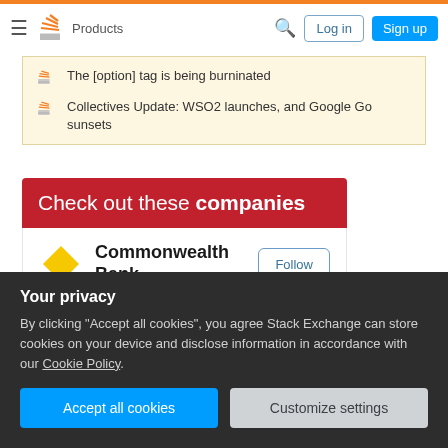≡  [Stack Overflow logo]  Products  🔍  Log in  Sign up
The [option] tag is being burninated
Collectives Update: WSO2 launches, and Google Go sunsets
Check out these companies
Commonwealth Bank
Building tomorrows bank today through global best digital experiences and technology.
Breuninger GmbH &
Your privacy
By clicking "Accept all cookies", you agree Stack Exchange can store cookies on your device and disclose information in accordance with our Cookie Policy.
Accept all cookies  Customize settings